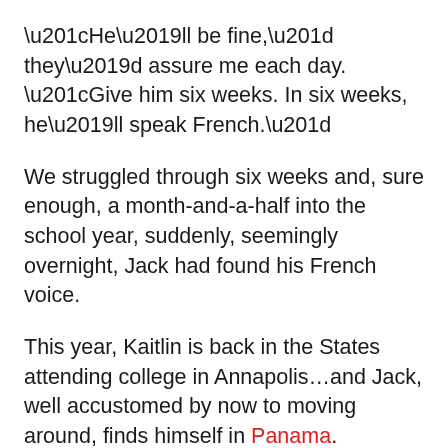“He’ll be fine,” they’d assure me each day. “Give him six weeks. In six weeks, he’ll speak French.”
We struggled through six weeks and, sure enough, a month-and-a-half into the school year, suddenly, seemingly overnight, Jack had found his French voice.
This year, Kaitlin is back in the States attending college in Annapolis…and Jack, well accustomed by now to moving around, finds himself in Panama.
Rather than panicking because he doesn’t speak Spanish, 8-year-old Jack is embracing the idea of learning a third language. He carries his “First 1,000 Words In Spanish” picture dictionary everywhere he goes. He reads signs and